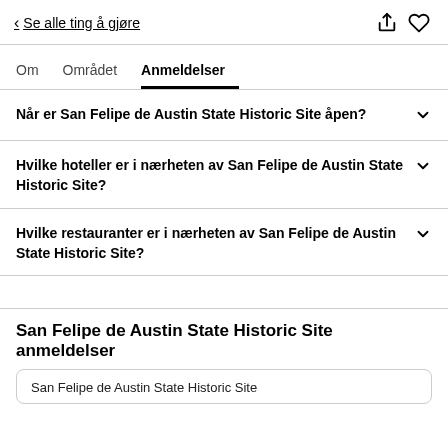< Se alle ting å gjøre
Om   Området   Anmeldelser
Når er San Felipe de Austin State Historic Site åpen?
Hvilke hoteller er i nærheten av San Felipe de Austin State Historic Site?
Hvilke restauranter er i nærheten av San Felipe de Austin State Historic Site?
San Felipe de Austin State Historic Site anmeldelser
San Felipe de Austin State Historic Site